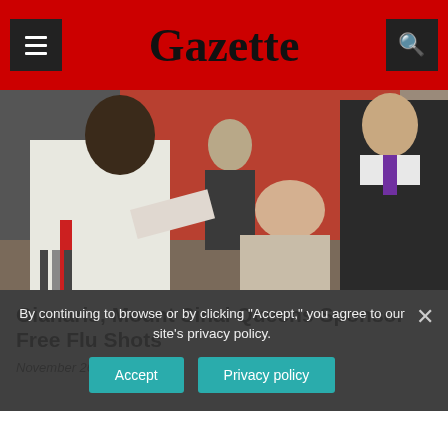Gazette
[Figure (photo): A healthcare worker administering a flu shot to a seated woman, with two other people standing in the background in front of a red brick wall.]
Gianaris, Mount Sinai Queens Sponsor Free Flu Shots
November 26, 2008
By continuing to browse or by clicking "Accept," you agree to our site's privacy policy.